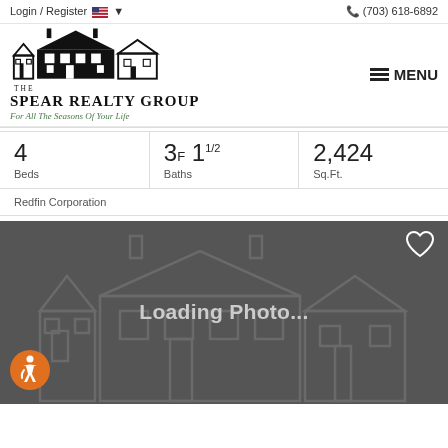Login / Register  (703) 618-6892
[Figure (logo): The Spear Realty Group logo with house silhouette illustration and tagline 'For All The Seasons Of Your Life']
| Beds | Baths | Sq.Ft. |
| --- | --- | --- |
| 4 | 3F 11/2 | 2,424 |
Redfin Corporation
[Figure (photo): Loading Photo... placeholder with house outline on dark gray background, heart icon top right, accessibility icon bottom left]